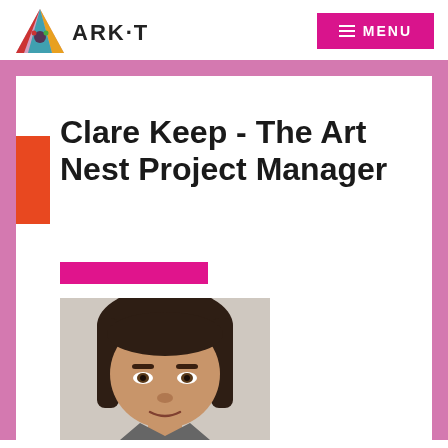ARK·T — MENU
Clare Keep - The Art Nest Project Manager
[Figure (photo): Headshot photograph of Clare Keep, a woman with dark brown hair, looking at the camera against a light grey background.]